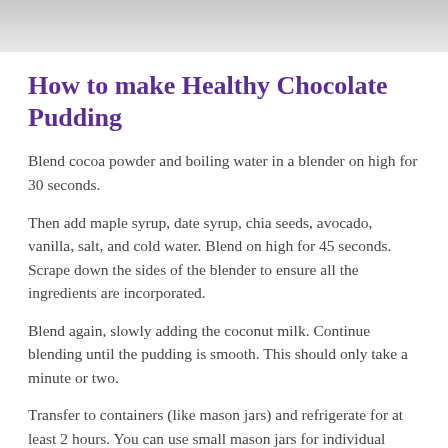[Figure (photo): Top portion of a food photo, showing a blurred/cropped image (likely chocolate pudding in jars), gray tones visible as a banner at top of page.]
How to make Healthy Chocolate Pudding
Blend cocoa powder and boiling water in a blender on high for 30 seconds.
Then add maple syrup, date syrup, chia seeds, avocado, vanilla, salt, and cold water. Blend on high for 45 seconds. Scrape down the sides of the blender to ensure all the ingredients are incorporated.
Blend again, slowly adding the coconut milk. Continue blending until the pudding is smooth. This should only take a minute or two.
Transfer to containers (like mason jars) and refrigerate for at least 2 hours. You can use small mason jars for individual servings or one large container. Serve straight from the jars or portion into bowls. Enjoy!